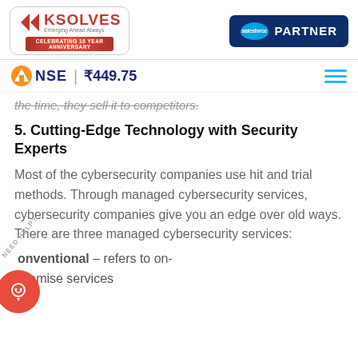Ksolves - Emerging Ahead Always | Salesforce Partner | NSE ₹449.75
the time, they sell it to competitors.
5. Cutting-Edge Technology with Security Experts
Most of the cybersecurity companies use hit and trial methods. Through managed cybersecurity services, cybersecurity companies give you an edge over old ways. There are three managed cybersecurity services:
Conventional – refers to on-premise services